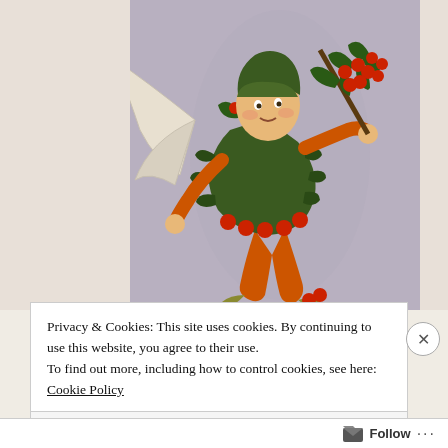[Figure (illustration): Vintage illustration of a holly fairy or elf character dressed in green holly-leaf costume with orange tights and pointed green shoes, holding a sprig of holly with red berries. The fairy has fairy wings and wears a green hood. Background is muted lavender-grey.]
Privacy & Cookies: This site uses cookies. By continuing to use this website, you agree to their use.
To find out more, including how to control cookies, see here: Cookie Policy
Close and accept
FOLLOW